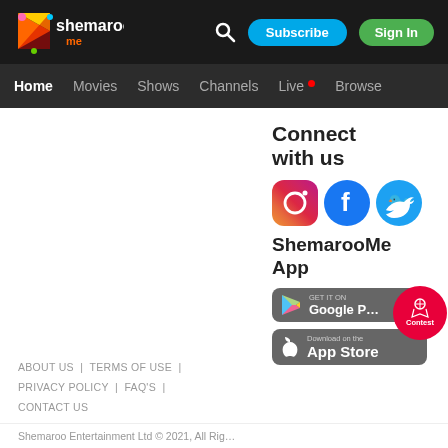[Figure (logo): ShemarooMe logo on dark header background with colorful play button icon]
Home  Movies  Shows  Channels  Live  Browse
ABOUT US  |  TERMS OF USE  |  PRIVACY POLICY  |  FAQ'S  |  CONTACT US
Connect with us
[Figure (illustration): Social media icons: Instagram, Facebook, Twitter]
ShemarooMe App
[Figure (illustration): Google Play Store badge and Apple App Store badge, with Contest circular badge overlay]
Shemaroo Entertainment Ltd © 2021, All Rig...